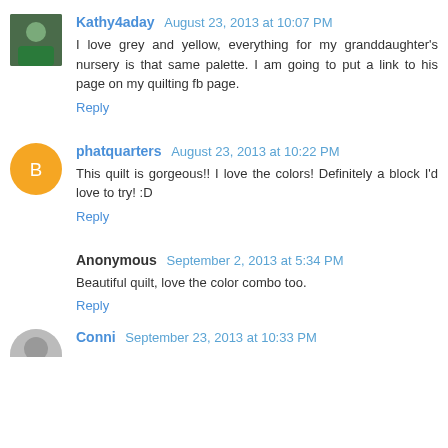Kathy4aday August 23, 2013 at 10:07 PM
I love grey and yellow, everything for my granddaughter's nursery is that same palette. I am going to put a link to his page on my quilting fb page.
Reply
phatquarters August 23, 2013 at 10:22 PM
This quilt is gorgeous!! I love the colors! Definitely a block I'd love to try! :D
Reply
Anonymous September 2, 2013 at 5:34 PM
Beautiful quilt, love the color combo too.
Reply
Conni September 23, 2013 at 10:33 PM